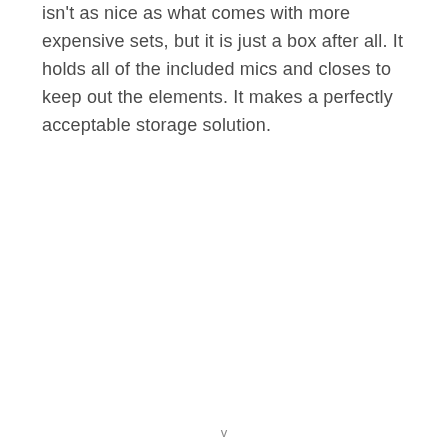isn't as nice as what comes with more expensive sets, but it is just a box after all. It holds all of the included mics and closes to keep out the elements. It makes a perfectly acceptable storage solution.
v